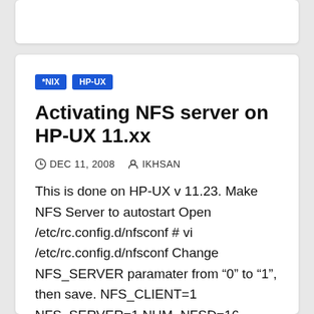*NIX  HP-UX
Activating NFS server on HP-UX 11.xx
DEC 11, 2008  IKHSAN
This is done on HP-UX v 11.23. Make NFS Server to autostart Open /etc/rc.config.d/nfsconf # vi /etc/rc.config.d/nfsconf Change NFS_SERVER paramater from “0” to “1”, then save. NFS_CLIENT=1 NFS_SERVER=1 NUM_NFSD=16 NUM_NFSIOD=16...